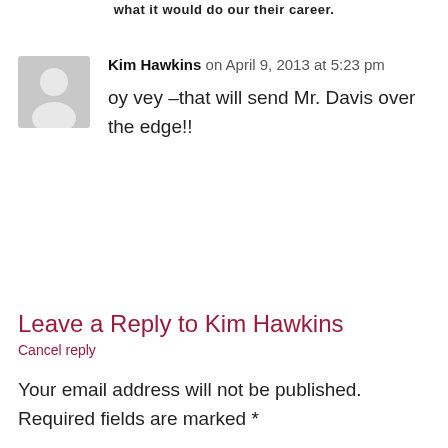what it would do our their career.
Kim Hawkins on April 9, 2013 at 5:23 pm
oy vey –that will send Mr. Davis over the edge!!
Leave a Reply to Kim Hawkins
Cancel reply
Your email address will not be published. Required fields are marked *